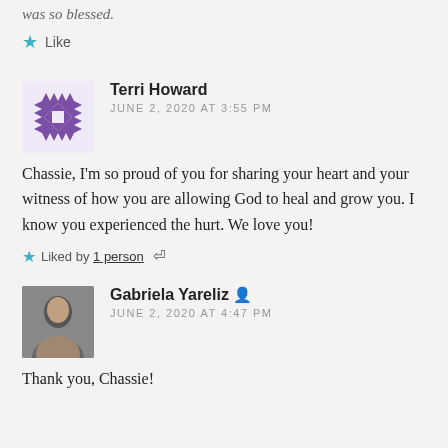was so blessed.
★ Like
Terri Howard
JUNE 2, 2020 AT 3:55 PM
Chassie, I'm so proud of you for sharing your heart and your witness of how you are allowing God to heal and grow you. I know you experienced the hurt. We love you!
★ Liked by 1 person ↩
Gabriela Yareliz
JUNE 2, 2020 AT 4:47 PM
Thank you, Chassie!